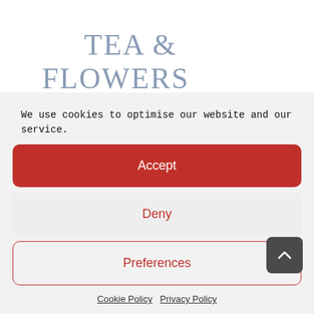TEA & FLOWERS
We use cookies to optimise our website and our service.
Accept
Deny
Preferences
Cookie Policy   Privacy Policy